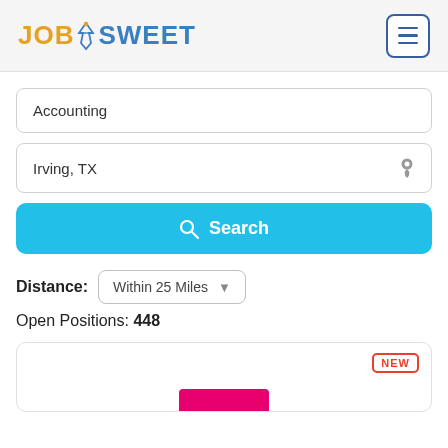JobSweet
Accounting
Irving, TX
Search
Distance: Within 25 Miles
Open Positions: 448
[Figure (screenshot): NEW badge and partial pink bar in a job listing card]